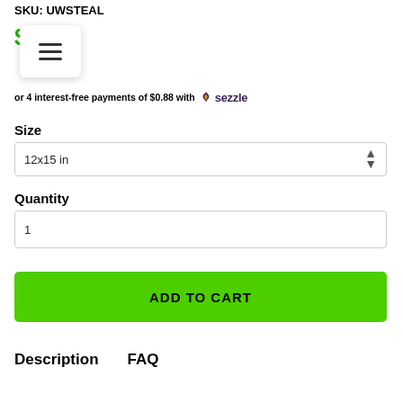SKU: UWSTEAL
$ (price partially obscured by menu popup)
or 4 interest-free payments of $0.88 with Sezzle
Size
12x15 in
Quantity
1
ADD TO CART
Description
FAQ